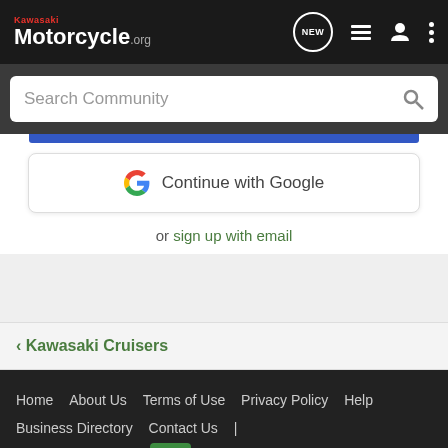Kawasaki Motorcycle.org
Search Community
[Figure (screenshot): Google Continue with Google button]
or sign up with email
< Kawasaki Cruisers
Home   About Us   Terms of Use   Privacy Policy   Help   Business Directory   Contact Us   |   Grow Your Business   NEW   •   VerticalScope Inc., 111 Peter Street, Suite 600, Toronto, Ontario, M5V 2H1, Canada